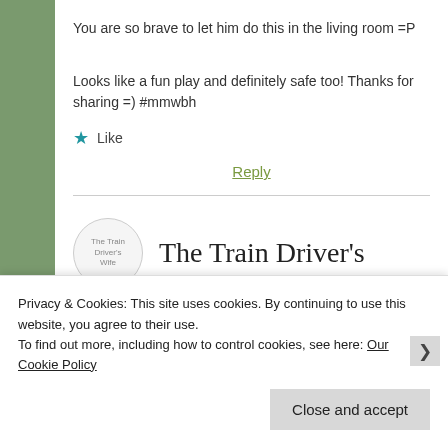You are so brave to let him do this in the living room =P
Looks like a fun play and definitely safe too! Thanks for sharing =) #mmwbh
★ Like
Reply
The Train Driver's
Privacy & Cookies: This site uses cookies. By continuing to use this website, you agree to their use.
To find out more, including how to control cookies, see here: Our Cookie Policy
Close and accept